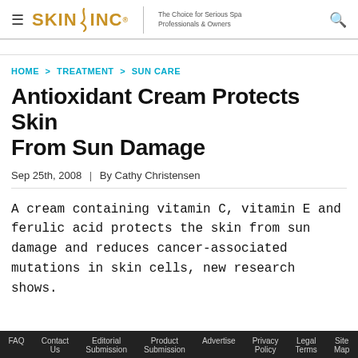SKIN INC | The Choice for Serious Spa Professionals & Owners
HOME > TREATMENT > SUN CARE
Antioxidant Cream Protects Skin From Sun Damage
Sep 25th, 2008 | By Cathy Christensen
A cream containing vitamin C, vitamin E and ferulic acid protects the skin from sun damage and reduces cancer-associated mutations in skin cells, new research shows.
FAQ  Contact Us  Editorial Submission  Product Submission  Advertise  Privacy Policy  Legal Terms  Site Map